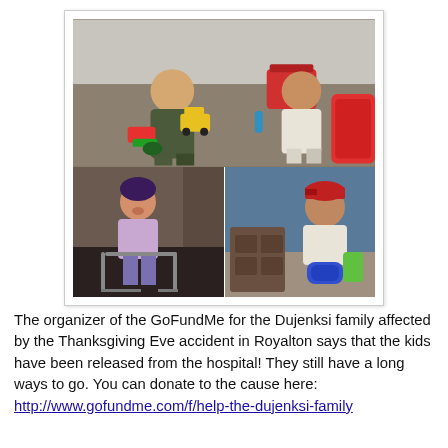[Figure (photo): Collage of three photos of children: top photo shows two boys playing with toy trucks and cars on a floor; bottom-left shows a young girl smiling and using a walker; bottom-right shows a boy wearing a red cap, smiling and holding a game controller.]
The organizer of the GoFundMe for the Dujenksi family affected by the Thanksgiving Eve accident in Royalton says that the kids have been released from the hospital! They still have a long ways to go. You can donate to the cause here: